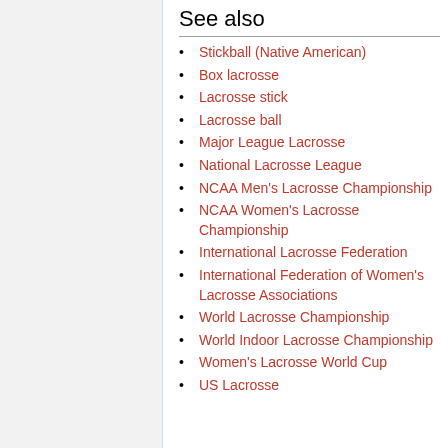See also
Stickball (Native American)
Box lacrosse
Lacrosse stick
Lacrosse ball
Major League Lacrosse
National Lacrosse League
NCAA Men's Lacrosse Championship
NCAA Women's Lacrosse Championship
International Lacrosse Federation
International Federation of Women's Lacrosse Associations
World Lacrosse Championship
World Indoor Lacrosse Championship
Women's Lacrosse World Cup
US Lacrosse